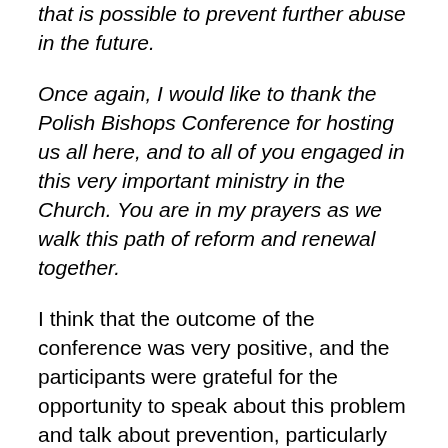that is possible to prevent further abuse in the future.
Once again, I would like to thank the Polish Bishops Conference for hosting us all here, and to all of you engaged in this very important ministry in the Church. You are in my prayers as we walk this path of reform and renewal together.
I think that the outcome of the conference was very positive, and the participants were grateful for the opportunity to speak about this problem and talk about prevention, particularly going forward. They were also very anxious to learn about the types of safeguarding efforts being taken in other parts of the world.
I'm proud of the hard work that the commission did to prepare for this conference. We are particularly grateful to commission member Hanna Suchocka...